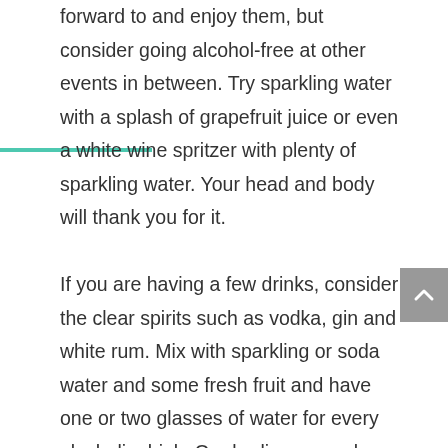forward to and enjoy them, but consider going alcohol-free at other events in between. Try sparkling water with a splash of grapefruit juice or even a white wine spritzer with plenty of sparkling water. Your head and body will thank you for it.

If you are having a few drinks, consider the clear spirits such as vodka, gin and white rum. Mix with sparkling or soda water and some fresh fruit and have one or two glasses of water for every alcoholic drink. Our bodies can only detoxify about one drink per hour, so pace yourself.